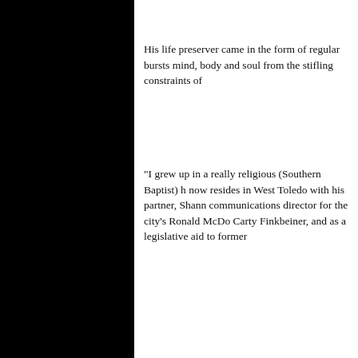His life preserver came in the form of regular bursts of mind, body and soul from the stifling constraints of
"I grew up in a really religious (Southern Baptist) h now resides in West Toledo with his partner, Shann communications director for the city's Ronald McDo Carty Finkbeiner, and as a legislative aid to former
"Prince and his tendency to sing about both sex ar because I felt the same struggle within myself. I dic damnation I was getting from my church and also f in the same voice.
"That was really liberating for me. I kinda realized t something that should be celebrated and not feare
Webber dove into Prince's lyrics "obsessively," dev other devotees — including a romantic relationship Bat with and he visited Prince's Rainbow Park...